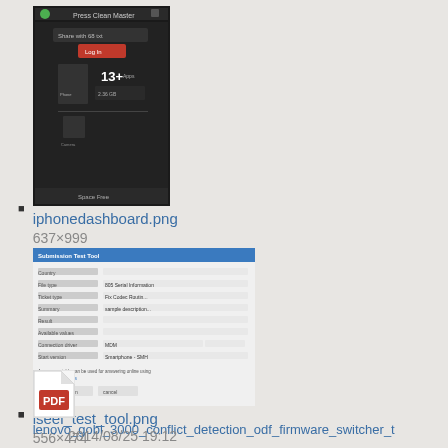[Figure (screenshot): Thumbnail of iPhone dashboard app screenshot (dark UI)]
iphonedashboard.png
637×999
2014/03/12 20:22
63.7 KB
[Figure (screenshot): Thumbnail of iseel test tool screenshot (form/web UI)]
iseel_test_tool.png
556×474
2014/08/25 19:12
17.6 KB
[Figure (other): PDF file icon]
lenovo_gobi_3000_conflict_detection_odf_firmware_switcher_t
2012/09/10 18:47